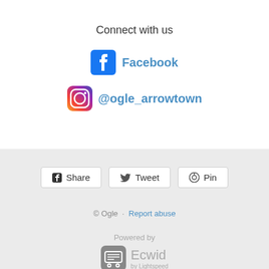Connect with us
Facebook
@ogle_arrowtown
Share   Tweet   Pin
© Ogle · Report abuse
Powered by
[Figure (logo): Ecwid by Lightspeed logo]
Ecwid by Lightspeed